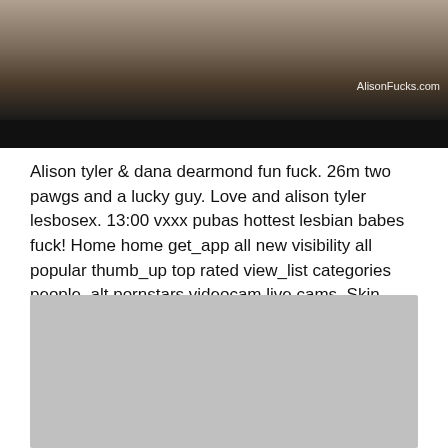[Figure (photo): Top portion of a photo showing two women, with a dark bar at the bottom and a watermark reading AlisonFucks.com]
Alison tyler & dana dearmond fun fuck. 26m two pawgs and a lucky guy. Love and alison tyler lesbosex. 13:00 vxxx pubas hottest lesbian babes fuck! Home home get_app all new visibility all popular thumb_up top rated view_list categories people_alt pornstars videocam live cams. Skin diamond, alison tyler, theyarehuge, lesbians, brunettes, 08:53 steamy lesbian fucking with stacked alison tyler and ava! 2 years ago 08:29 freeporn8 dress.
[Figure (photo): A large grey/silver colored image block at the bottom of the page]